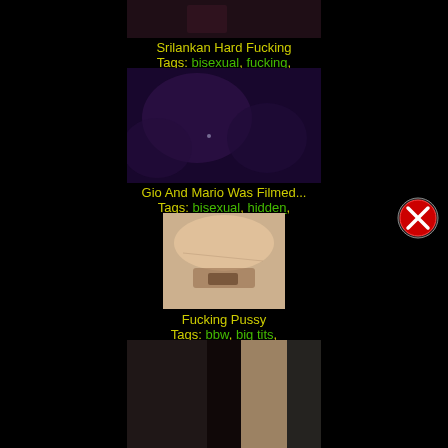[Figure (photo): Dark blurry video thumbnail at top]
Srilankan Hard Fucking
Tags: bisexual, fucking,
[Figure (photo): Dark purple blurry video thumbnail]
Gio And Mario Was Filmed...
Tags: bisexual, hidden,
[Figure (photo): Nude photo thumbnail]
Fucking Pussy
Tags: bbw, big tits,
[Figure (photo): Partial thumbnail at bottom]